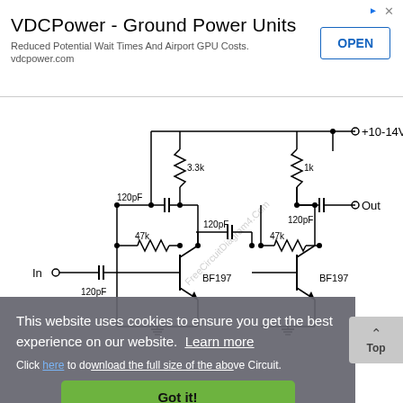[Figure (other): Advertisement banner for VDCPower - Ground Power Units with OPEN button]
[Figure (circuit-diagram): Two-stage transistor amplifier circuit using BF197 transistors with components: 120pF capacitors, 47k resistors, 3.3k and 1k resistors, powered by +10-14V supply, with In and Out labels]
This website uses cookies to ensure you get the best experience on our website. Learn more
Click here to download the full size of the above Circuit.
Got it!